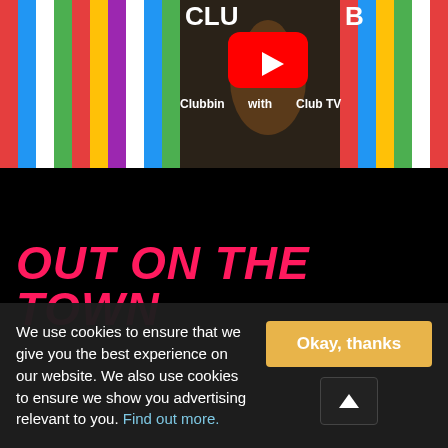[Figure (screenshot): YouTube video thumbnail showing 'Clubbing with Club TV' channel with red YouTube play button overlay, person sitting on colorful striped background]
GET DIRECTIONS
OUT ON THE TOWN
We use cookies to ensure that we give you the best experience on our website. We also use cookies to ensure we show you advertising relevant to you. Find out more.